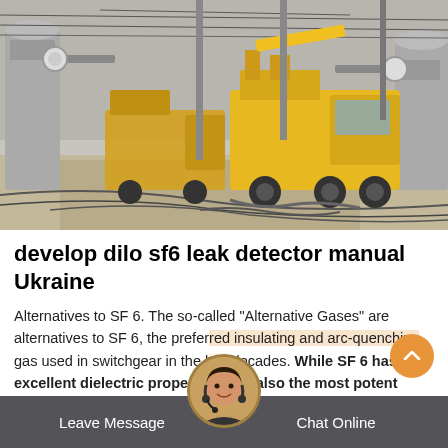[Figure (photo): Yellow utility trucks and industrial electrical equipment/switchgear at a substation site. Workers and machinery visible in an outdoor industrial setting.]
develop dilo sf6 leak detector manual Ukraine
Alternatives to SF 6. The so-called "Alternative Gases" are alternatives to SF 6, the preferred insulating and arc-quenching gas used in switchgear in the last decades. While SF 6 has excellent dielectric properties, it is also the most potent